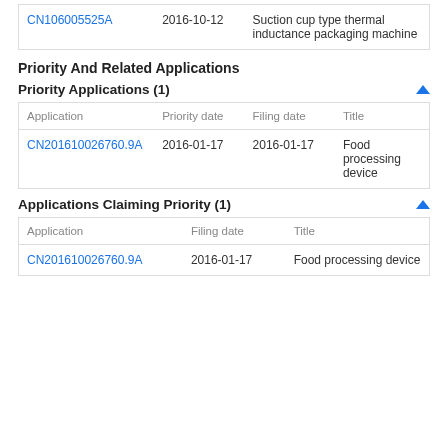|  |  |  |
| --- | --- | --- |
| CN106005525A | 2016-10-12 | Suction cup type thermal inductance packaging machine |
Priority And Related Applications
Priority Applications (1)
| Application | Priority date | Filing date | Title |
| --- | --- | --- | --- |
| CN201610026760.9A | 2016-01-17 | 2016-01-17 | Food processing device |
Applications Claiming Priority (1)
| Application | Filing date | Title |
| --- | --- | --- |
| CN201610026760.9A | 2016-01-17 | Food processing device |